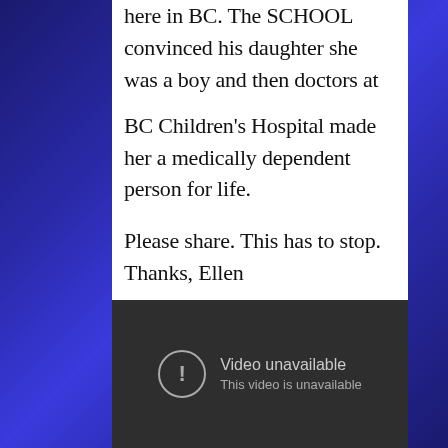here in BC. The SCHOOL convinced his daughter she was a boy and then doctors at BC Children's Hospital made her a medically dependent person for life.

Please share. This has to stop. Thanks, Ellen
[Figure (screenshot): A YouTube-style video player showing a dark grey background with a circular exclamation mark icon and the text 'Video unavailable / This video is unavailable']